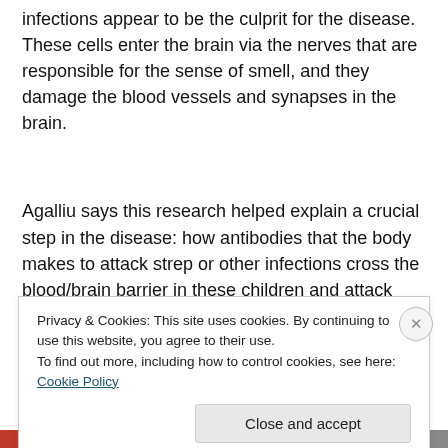infections appear to be the culprit for the disease. These cells enter the brain via the nerves that are responsible for the sense of smell, and they damage the blood vessels and synapses in the brain.
Agalliu says this research helped explain a crucial step in the disease: how antibodies that the body makes to attack strep or other infections cross the blood/brain barrier in these children and attack parts of their brain by mistake:
Privacy & Cookies: This site uses cookies. By continuing to use this website, you agree to their use. To find out more, including how to control cookies, see here: Cookie Policy